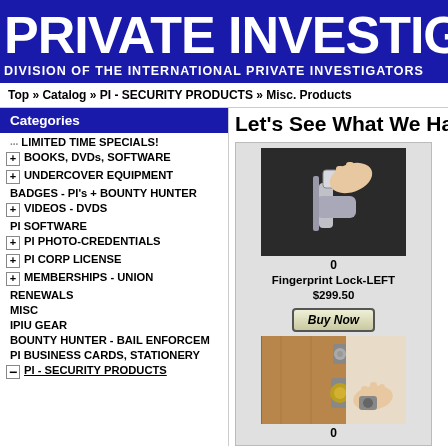PRIVATE INVESTIGATORS C
DIVISION OF THE INTERNATIONAL PRIVATE INVESTIGATORS
Top » Catalog » PI - SECURITY PRODUCTS » Misc. Products
Categories
LIMITED TIME SPECIALS!
BOOKS, DVDs, SOFTWARE
UNDERCOVER EQUIPMENT
BADGES - PI's + BOUNTY HUNTER
VIDEOS - DVDS
PI SOFTWARE
PI PHOTO-CREDENTIALS
PI CORP LICENSE
MEMBERSHIPS - UNION
RENEWALS
MISC
IPIU GEAR
BOUNTY HUNTER - BAIL ENFORCEM
PI BUSINESS CARDS, STATIONERY
PI - SECURITY PRODUCTS
Let's See What We Have
[Figure (photo): Fingerprint lock image showing a hand touching a biometric lock handle]
0
Fingerprint Lock-LEFT
$299.50
[Figure (photo): Door knob and deadbolt lock with a hand holding a small device]
0